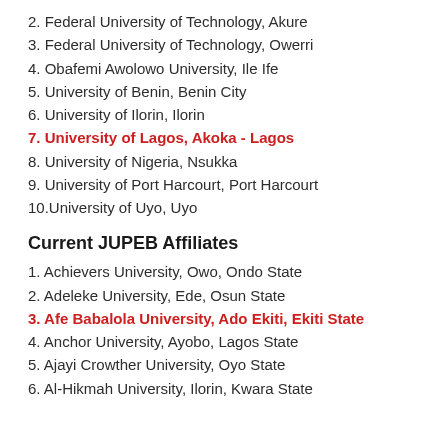2. Federal University of Technology, Akure
3. Federal University of Technology, Owerri
4. Obafemi Awolowo University, Ile Ife
5. University of Benin, Benin City
6. University of Ilorin, Ilorin
7. University of Lagos, Akoka - Lagos
8. University of Nigeria, Nsukka
9. University of Port Harcourt, Port Harcourt
10. University of Uyo, Uyo
Current JUPEB Affiliates
1. Achievers University, Owo, Ondo State
2. Adeleke University, Ede, Osun State
3. Afe Babalola University, Ado Ekiti, Ekiti State
4. Anchor University, Ayobo, Lagos State
5. Ajayi Crowther University, Oyo State
6. Al-Hikmah University, Ilorin, Kwara State